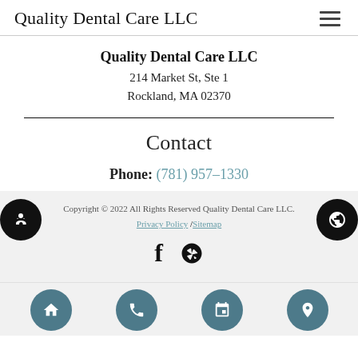Quality Dental Care LLC
Quality Dental Care LLC
214 Market St, Ste 1
Rockland, MA 02370
Contact
Phone: (781) 957-1330
Copyright © 2022 All Rights Reserved Quality Dental Care LLC.
Privacy Policy /Sitemap